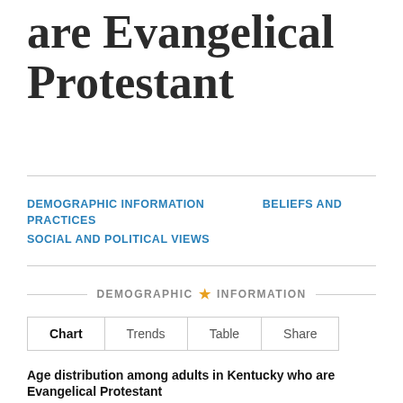are Evangelical Protestant
DEMOGRAPHIC INFORMATION
BELIEFS AND PRACTICES
SOCIAL AND POLITICAL VIEWS
DEMOGRAPHIC ★ INFORMATION
Chart   Trends   Table   Share
Age distribution among adults in Kentucky who are Evangelical Protestant